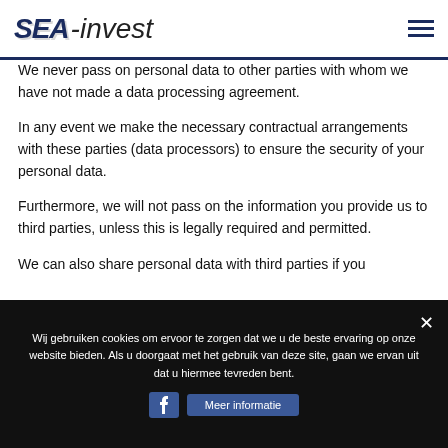SEA-invest
We never pass on personal data to other parties with whom we have not made a data processing agreement.
In any event we make the necessary contractual arrangements with these parties (data processors) to ensure the security of your personal data.
Furthermore, we will not pass on the information you provide us to third parties, unless this is legally required and permitted.
We can also share personal data with third parties if you
Wij gebruiken cookies om ervoor te zorgen dat we u de beste ervaring op onze website bieden. Als u doorgaat met het gebruik van deze site, gaan we ervan uit dat u hiermee tevreden bent.